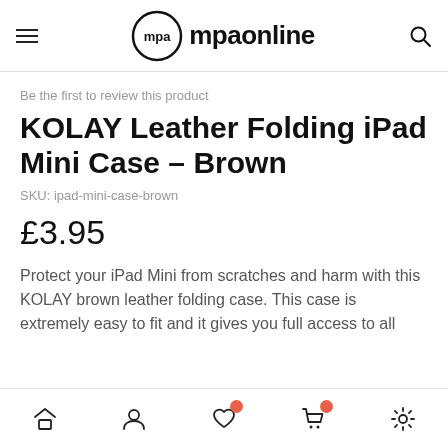mpaonline
Be the first to review this product
KOLAY Leather Folding iPad Mini Case - Brown
SKU: ipad-mini-case-brown
£3.95
Protect your iPad Mini from scratches and harm with this KOLAY brown leather folding case. This case is extremely easy to fit and it gives you full access to all
Home | Account | Wishlist | Cart | Settings